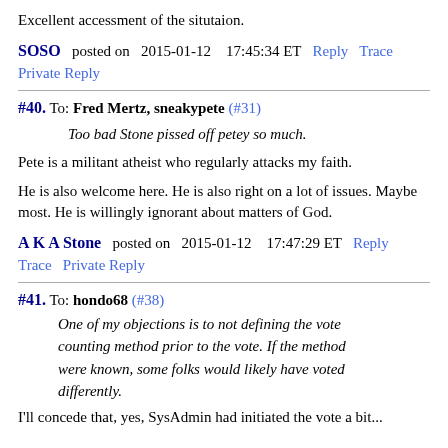Excellent accessment of the situtaion.
SOSO  posted on  2015-01-12  17:45:34 ET  Reply  Trace  Private Reply
#40. To: Fred Mertz, sneakypete (#31)
Too bad Stone pissed off petey so much.
Pete is a militant atheist who regularly attacks my faith.
He is also welcome here. He is also right on a lot of issues. Maybe most. He is willingly ignorant about matters of God.
A K A Stone  posted on  2015-01-12  17:47:29 ET  Reply  Trace  Private Reply
#41. To: hondo68 (#38)
One of my objections is to not defining the vote counting method prior to the vote. If the method were known, some folks would likely have voted differently.
I'll concede that, yes, SysAdmin had initiated the vote a bit...